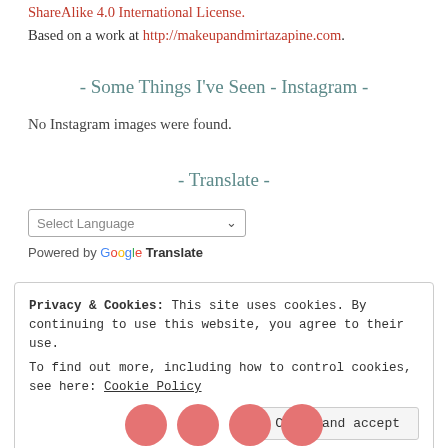ShareAlike 4.0 International License.
Based on a work at http://makeupandmirtazapine.com.
- Some Things I've Seen - Instagram -
No Instagram images were found.
- Translate -
Select Language (dropdown)
Powered by Google Translate
Privacy & Cookies: This site uses cookies. By continuing to use this website, you agree to their use.
To find out more, including how to control cookies, see here: Cookie Policy
Close and accept
[Figure (illustration): Partial view of four pink/red social media icon circles at the bottom of the page]